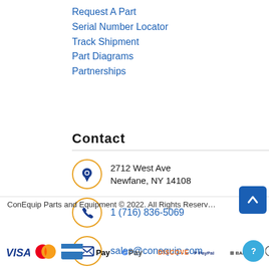Request A Part
Serial Number Locator
Track Shipment
Part Diagrams
Partnerships
Contact
2712 West Ave
Newfane, NY 14108
1 (716) 836-5069
sales@conequip.com
ConEquip Parts and Equipment © 2022. All Rights Reserved